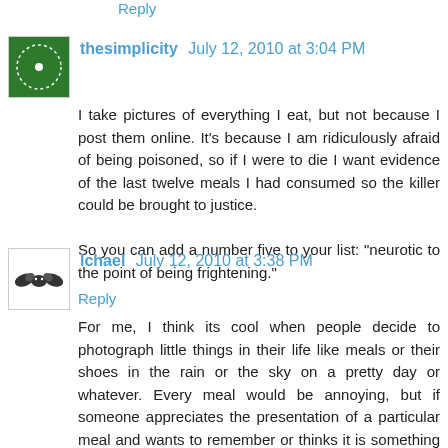Reply
thesimplicity  July 12, 2010 at 3:04 PM
I take pictures of everything I eat, but not because I post them online. It's because I am ridiculously afraid of being poisoned, so if I were to die I want evidence of the last twelve meals I had consumed so the killer could be brought to justice.

So you can add a number five to your list: "neurotic to the point of being frightening."
Reply
lchael  July 12, 2010 at 3:38 PM
For me, I think its cool when people decide to photograph little things in their life like meals or their shoes in the rain or the sky on a pretty day or whatever. Every meal would be annoying, but if someone appreciates the presentation of a particular meal and wants to remember or thinks it is something worth capturing, go for it. Food can be really